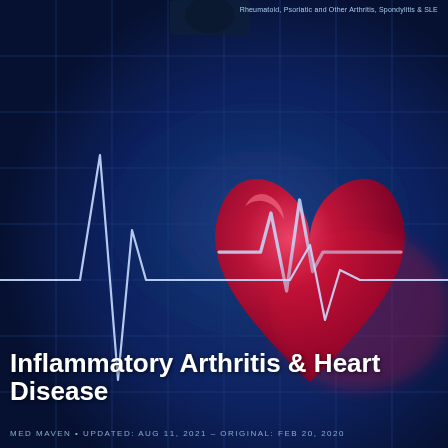Rheumatoid, Psoriatic and Other Arthritis, Spondylitis & SLE
[Figure (illustration): Medical illustration showing a dark blue grid background with a white ECG/heartbeat line tracing across the left side, and a large red 3D heart graphic on the right side with an ECG line traced over it. The background has a blue grid pattern suggesting a medical monitor display.]
Inflammatory Arthritis & Heart Disease
MED MAVEN • UPDATED: AUG 11, 2021 – ORIGINAL: FEB 20, 2020